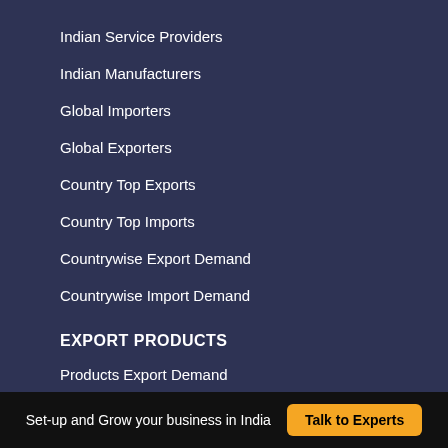Indian Service Providers
Indian Manufacturers
Global Importers
Global Exporters
Country Top Exports
Country Top Imports
Countrywise Export Demand
Countrywise Import Demand
EXPORT PRODUCTS
Products Export Demand
Set-up and Grow your business in India  Talk to Experts